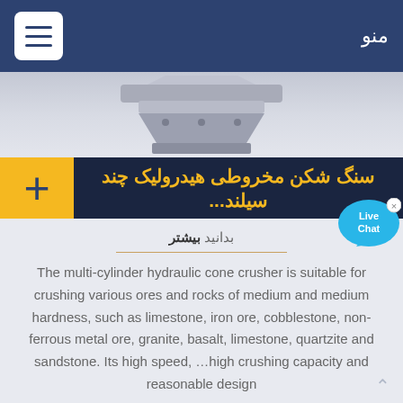منو
[Figure (photo): Partial view of a hydraulic cone crusher machine, gray industrial equipment]
سنگ شکن مخروطی هیدرولیک چند سیلند...
بدانید بیشتر
The multi-cylinder hydraulic cone crusher is suitable for crushing various ores and rocks of medium and medium hardness, such as limestone, iron ore, cobblestone, non-ferrous metal ore, granite, basalt, limestone, quartzite and sandstone. Its high speed, …high crushing capacity and reasonable design